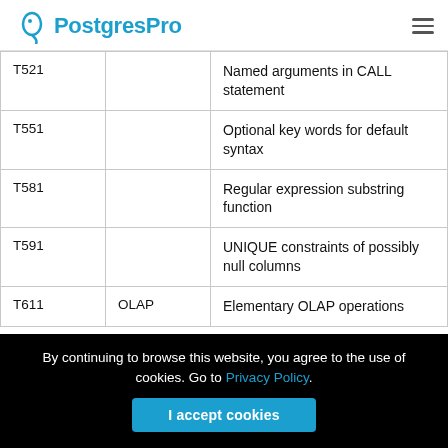PostgresPro
|  |  |  |
| --- | --- | --- |
| T521 |  | Named arguments in CALL statement |
| T551 |  | Optional key words for default syntax |
| T581 |  | Regular expression substring function |
| T591 |  | UNIQUE constraints of possibly null columns |
| T611 | OLAP | Elementary OLAP operations |
By continuing to browse this website, you agree to the use of cookies. Go to Privacy Policy.
I accept cookies